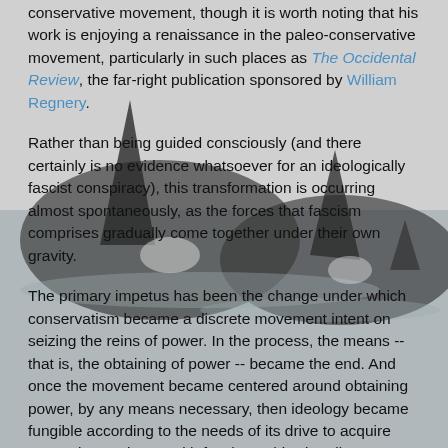[Figure (photo): Background photograph of orca/killer whale fins emerging from water, grayscale/muted tones]
conservative movement, though it is worth noting that his work is enjoying a renaissance in the paleo-conservative movement, particularly in such places as The Occidental Review, the far-right publication sponsored by William Regnery.
Rather than being guided consciously (and there certainly is no evidence whatsoever for an ideologically fascist conspiracy), this transformation is occurring almost spontaneously, as the forces that fascism comprises gradually come together under their own gravity.
The primary impetus has been the change under which conservatism became a discrete movement intent on seizing the reins of power. In the process, the means -- that is, the obtaining of power -- became the end. And once the movement became centered around obtaining power, by any means necessary, then ideology became fungible according to the needs of its drive to acquire power, just as it was with fascism. This virtually guaranteed it would become a travesty of its original purpose. The nature of today's "conservative movement" is no more apparent than in how distinctly un